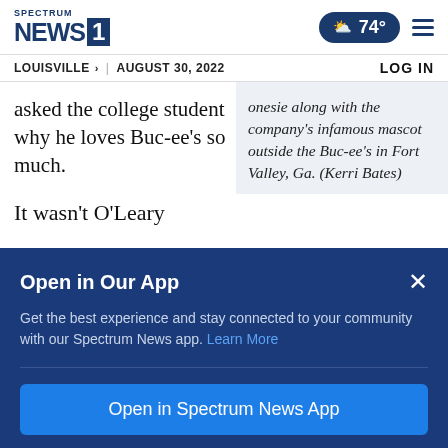Spectrum NEWS 1 | Louisville > | August 30, 2022 | 74° | LOG IN
asked the college student why he loves Buc-ee's so much.
onesie along with the company's infamous mascot outside the Buc-ee's in Fort Valley, Ga. (Kerri Bates)
It wasn't O'Leary
Open in Our App
Get the best experience and stay connected to your community with our Spectrum News app. Learn More
Open in Spectrum News App
Continue in Browser